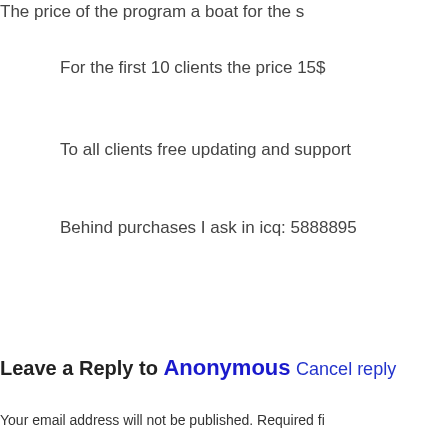The price of the program a boat for the s
For the first 10 clients the price 15$
To all clients free updating and support
Behind purchases I ask in icq: 5888895
Reply
Leave a Reply to Anonymous Cancel reply
Your email address will not be published. Required fi
Comment *